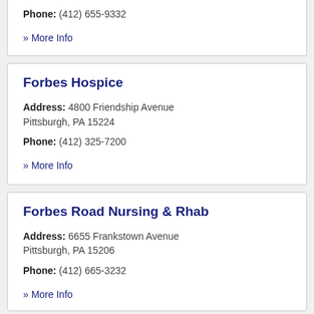Phone: (412) 655-9332
» More Info
Forbes Hospice
Address: 4800 Friendship Avenue Pittsburgh, PA 15224
Phone: (412) 325-7200
» More Info
Forbes Road Nursing & Rhab
Address: 6655 Frankstown Avenue Pittsburgh, PA 15206
Phone: (412) 665-3232
» More Info